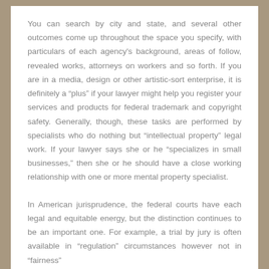You can search by city and state, and several other outcomes come up throughout the space you specify, with particulars of each agency's background, areas of follow, revealed works, attorneys on workers and so forth. If you are in a media, design or other artistic-sort enterprise, it is definitely a "plus" if your lawyer might help you register your services and products for federal trademark and copyright safety. Generally, though, these tasks are performed by specialists who do nothing but "intellectual property" legal work. If your lawyer says she or he "specializes in small businesses," then she or he should have a close working relationship with one or more mental property specialist.
In American jurisprudence, the federal courts have each legal and equitable energy, but the distinction continues to be an important one. For example, a trial by jury is often available in "regulation" circumstances however not in "fairness"